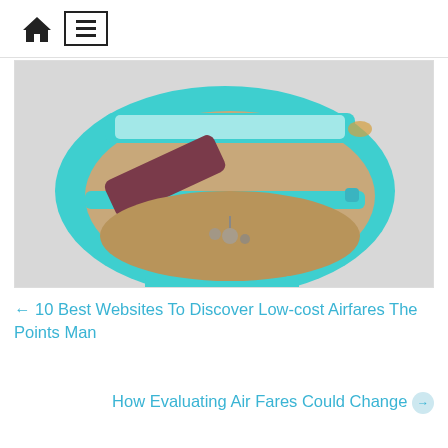[Home icon] [Menu icon]
[Figure (photo): Top-down view of an open teal/turquoise bag with brown interior, showing zippers, a purple strap, keys, and small items inside.]
← 10 Best Websites To Discover Low-cost Airfares The Points Man
How Evaluating Air Fares Could Change →